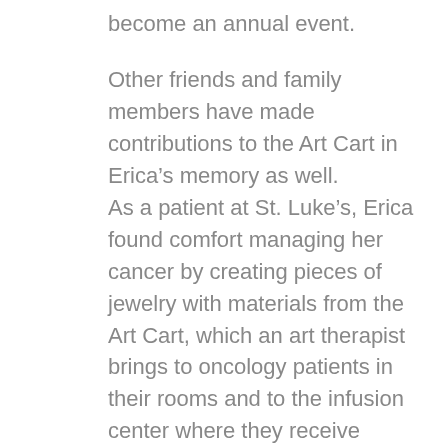become an annual event.
Other friends and family members have made contributions to the Art Cart in Erica’s memory as well.
As a patient at St. Luke’s, Erica found comfort managing her cancer by creating pieces of jewelry with materials from the Art Cart, which an art therapist brings to oncology patients in their rooms and to the infusion center where they receive chemotherapy as outpatients. At a low point in Erica’s treatment, when she was feeling defeated and hopeless, she started working on a necklace (see